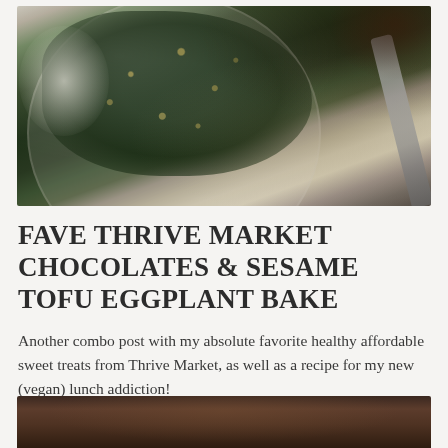[Figure (photo): Overhead photo of a plate with dark sautéed kale topped with seeds and nuts, with a fork on the plate, on a light background. Appears to be a sesame tofu eggplant bake dish.]
FAVE THRIVE MARKET CHOCOLATES & SESAME TOFU EGGPLANT BAKE
Another combo post with my absolute favorite healthy affordable sweet treats from Thrive Market, as well as a recipe for my new (vegan) lunch addiction!
[Figure (photo): Partial bottom photo showing a dark wooden surface with food items, partially cut off at page bottom.]